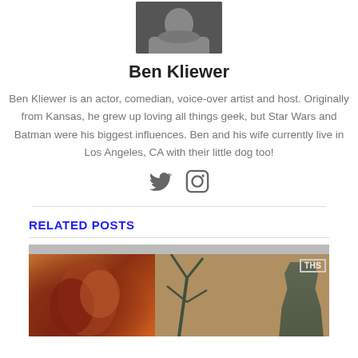[Figure (photo): Profile photo of Ben Kliewer - person in dark t-shirt]
Ben Kliewer
Ben Kliewer is an actor, comedian, voice-over artist and host. Originally from Kansas, he grew up loving all things geek, but Star Wars and Batman were his biggest influences. Ben and his wife currently live in Los Angeles, CA with their little dog too!
[Figure (illustration): Twitter and Instagram social media icons]
RELATED POSTS
[Figure (photo): Related post thumbnail image showing two faces in orange/brown hues and a figure in military gear against tan background, with THS badge in top right corner]